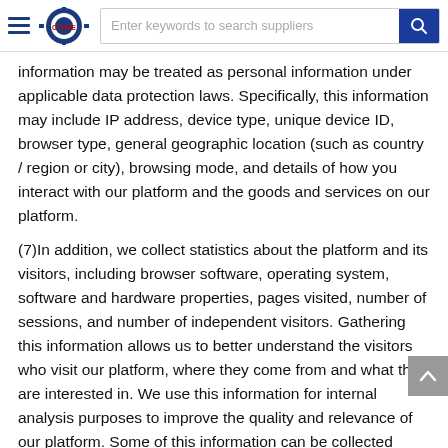CCCME — Enter keywords to search suppliers
information may be treated as personal information under applicable data protection laws. Specifically, this information may include IP address, device type, unique device ID, browser type, general geographic location (such as country / region or city), browsing mode, and details of how you interact with our platform and the goods and services on our platform.
(7)In addition, we collect statistics about the platform and its visitors, including browser software, operating system, software and hardware properties, pages visited, number of sessions, and number of independent visitors. Gathering this information allows us to better understand the visitors who visit our platform, where they come from and what they are interested in. We use this information for internal analysis purposes to improve the quality and relevance of our platform. Some of this information can be collected through cookies, as further described in "cookie" below.
Please note that your search keyword information can't